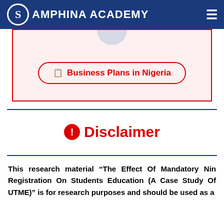Samphina Academy
[Figure (illustration): Banner box with red border and light pink background containing a 'Business Plans in Nigeria' button with red outline and clipboard icon]
Disclaimer
This research material “The Effect Of Mandatory Nin Registration On Students Education (A Case Study Of UTME)” is for research purposes and should be used as a